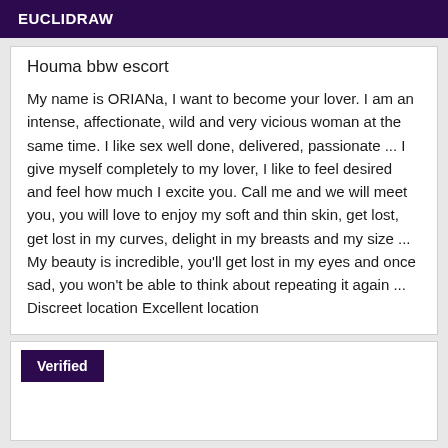EUCLIDRAW
Houma bbw escort
My name is ORIANa, I want to become your lover. I am an intense, affectionate, wild and very vicious woman at the same time. I like sex well done, delivered, passionate ... I give myself completely to my lover, I like to feel desired and feel how much I excite you. Call me and we will meet you, you will love to enjoy my soft and thin skin, get lost, get lost in my curves, delight in my breasts and my size ... My beauty is incredible, you'll get lost in my eyes and once sad, you won't be able to think about repeating it again ... Discreet location Excellent location
Verified